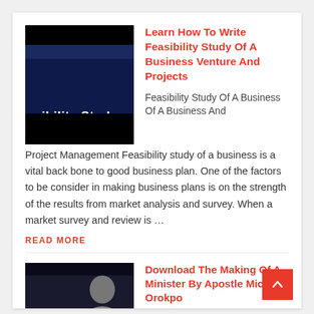[Figure (illustration): Thumbnail image for a feasibility study article: black background with dark blue band and white bold text reading 'easibility Stud' (partially visible)]
Learn How To Write Feasibility Study Of A Business Venture And Projects
Feasibility Study Of A Business Of A Business And Project Management Feasibility study of a business is a vital back bone to good business plan. One of the factors to be consider in making business plans is on the strength of the results from market analysis and survey. When a market survey and review is ...
READ MORE
[Figure (photo): Thumbnail for a second article: dark background with a person in foreground, red bar with small text, and bold white text reading 'E MAKING' at bottom]
Download The Making Of A Minister By Apostle Michael Orokpo